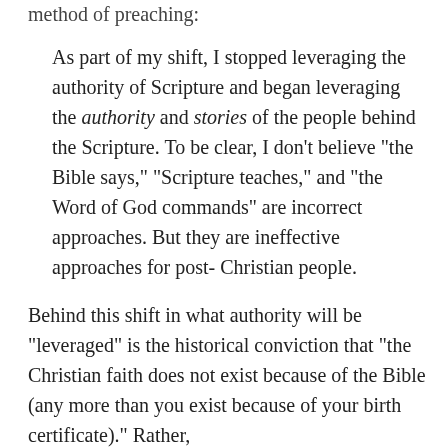method of preaching:
As part of my shift, I stopped leveraging the authority of Scripture and began leveraging the authority and stories of the people behind the Scripture. To be clear, I don't believe “the Bible says,” “Scripture teaches,” and “the Word of God commands” are incorrect approaches. But they are ineffective approaches for post-Christian people.
Behind this shift in what authority will be “leveraged” is the historical conviction that “the Christian faith does not exist because of the Bible (any more than you exist because of your birth certificate).” Rather,